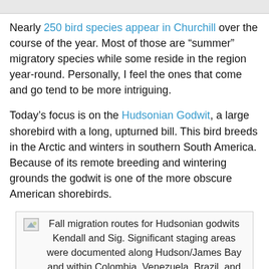[Figure (other): Gray top bar decorative element]
Nearly 250 bird species appear in Churchill over the course of the year. Most of those are “summer” migratory species while some reside in the region year-round. Personally, I feel the ones that come and go tend to be more intriguing.
Today’s focus is on the Hudsonian Godwit, a large shorebird with a long, upturned bill. This bird breeds in the Arctic and winters in southern South America. Because of its remote breeding and wintering grounds the godwit is one of the more obscure American shorebirds.
[Figure (other): Image placeholder icon for fall migration routes map]
Fall migration routes for Hudsonian godwits Kendall and Sig. Significant staging areas were documented along Hudson/James Bay and within Colombia, Venezuela, Brazil, and Bolivia. Map by CCB.